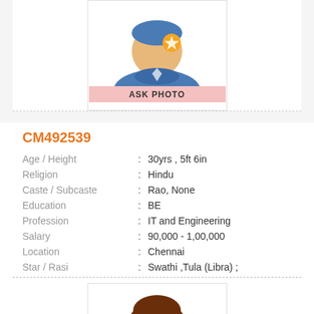[Figure (illustration): A generic male avatar with blue shirt and orange/yellow star badge, with text ASK PHOTO below]
CM492539
| Age / Height | : | 30yrs , 5ft 6in |
| Religion | : | Hindu |
| Caste / Subcaste | : | Rao, None |
| Education | : | BE |
| Profession | : | IT and Engineering |
| Salary | : | 90,000 - 1,00,000 |
| Location | : | Chennai |
| Star / Rasi | : | Swathi ,Tula (Libra) ; |
View Contact
View Full Profile
[Figure (illustration): A generic female avatar with brown hair, partial view at the bottom of the page]